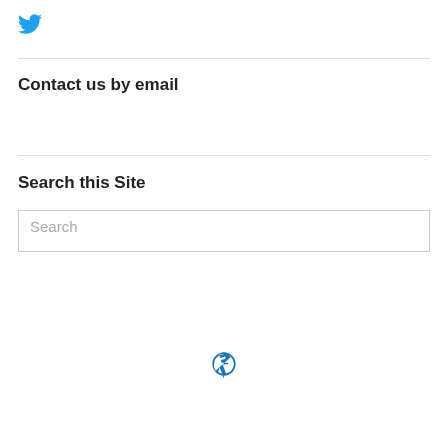[Figure (logo): Twitter bird logo icon in blue]
Contact us by email
heritagefestivalofsaskatoon@gmail.com
Search this Site
Search
View Full Site
[Figure (logo): WordPress logo/icon in blue]